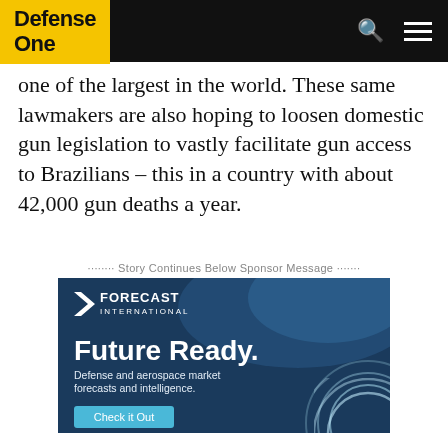Defense One
one of the largest in the world. These same lawmakers are also hoping to loosen domestic gun legislation to vastly facilitate gun access to Brazilians – this in a country with about 42,000 gun deaths a year.
········ Story Continues Below Sponsor Message ·······
[Figure (other): Forecast International advertisement. Dark blue background with aircraft cockpit imagery. Logo: white triangle/chevron shape followed by FORECAST INTERNATIONAL text. Large bold white text: Future Ready. Smaller white text: Defense and aerospace market forecasts and intelligence. Light blue button with text: Check it Out. Decorative concentric quarter-circle arcs in bottom right corner.]
The expansion of Brazilian weapons transfers to